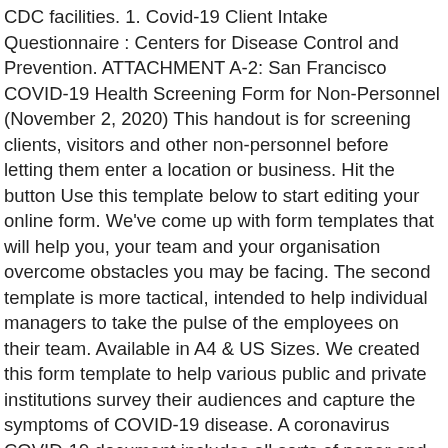CDC facilities. 1. Covid-19 Client Intake Questionnaire : Centers for Disease Control and Prevention. ATTACHMENT A-2: San Francisco COVID-19 Health Screening Form for Non-Personnel (November 2, 2020) This handout is for screening clients, visitors and other non-personnel before letting them enter a location or business. Hit the button Use this template below to start editing your online form. We've come up with form templates that will help you, your team and your organisation overcome obstacles you may be facing. The second template is more tactical, intended to help individual managers to take the pulse of the employees on their team. Available in A4 & US Sizes. We created this form template to help various public and private institutions survey their audiences and capture the symptoms of COVID-19 disease. A coronavirus COVID-19 document includes all sorts of paper and document businesses and companies use during the pandemic to address people. We'll walk you through how to successfully launch both within your organization. The AMA has developed the template for a pre-appointment patient screening script that practices can modify or